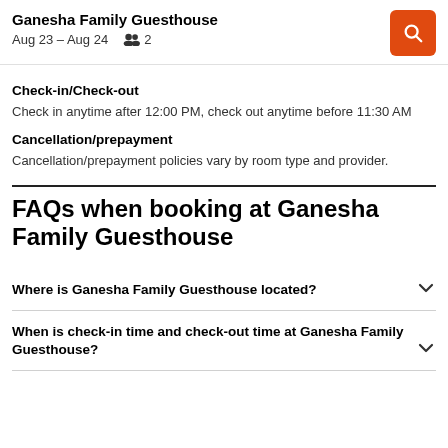Ganesha Family Guesthouse | Aug 23 – Aug 24 | 2 guests
Check-in/Check-out
Check in anytime after 12:00 PM, check out anytime before 11:30 AM
Cancellation/prepayment
Cancellation/prepayment policies vary by room type and provider.
FAQs when booking at Ganesha Family Guesthouse
Where is Ganesha Family Guesthouse located?
When is check-in time and check-out time at Ganesha Family Guesthouse?